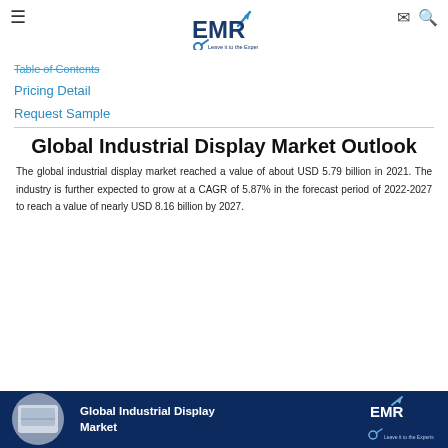≡   EMR Leave it to the Experts   ✉ 🔍
Table of Contents
Pricing Detail
Request Sample
Global Industrial Display Market Outlook
The global industrial display market reached a value of about USD 5.79 billion in 2021. The industry is further expected to grow at a CAGR of 5.87% in the forecast period of 2022-2027 to reach a value of nearly USD 8.16 billion by 2027.
[Figure (infographic): Dark navy banner with circular image thumbnail on left, title 'Global Industrial Display Market' in white text in center, EMR logo on right]